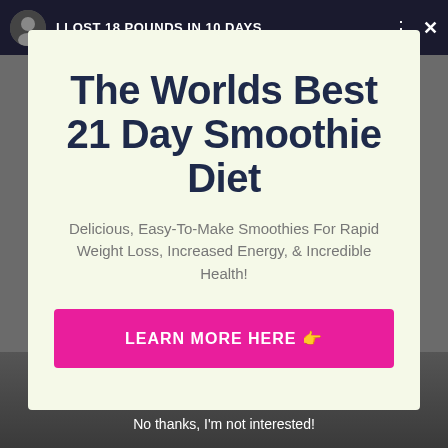[Figure (screenshot): Dark top bar with avatar, video title 'I LOST 18 POUNDS IN 10 DAYS...', menu dots and close X button]
The Worlds Best 21 Day Smoothie Diet
Delicious, Easy-To-Make Smoothies For Rapid Weight Loss, Increased Energy, & Incredible Health!
LEARN MORE HERE 👉
No thanks, I'm not interested!